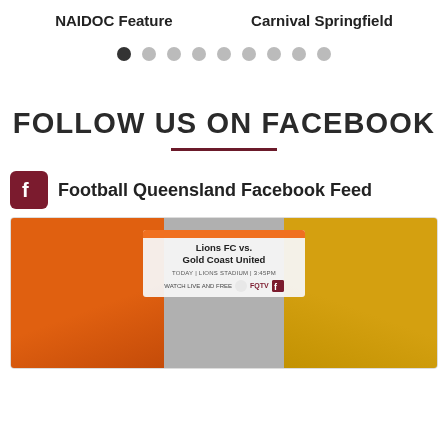NAIDOC Feature
Carnival Springfield
[Figure (other): Carousel pagination dots — one dark active dot followed by eight light grey dots]
FOLLOW US ON FACEBOOK
Football Queensland Facebook Feed
[Figure (photo): Football Queensland Facebook feed image showing two women soccer players — one in orange jersey (left) and one in yellow jersey (right) — with a match promotion overlay: 'Lions FC vs. Gold Coast United, TODAY | LIONS STADIUM | 3:45PM, WATCH LIVE AND FREE FQTV']